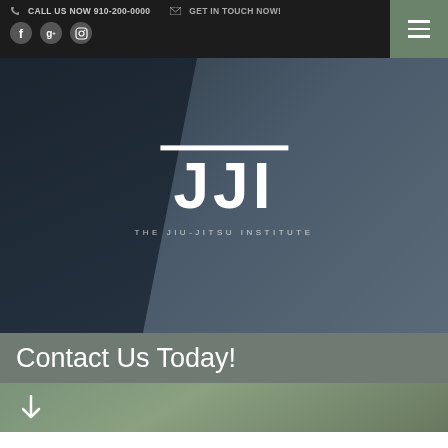CALL US NOW 910-200-0000   GET IN TOUCH NOW!
[Figure (logo): JJI - The Jiu-Jitsu Institute logo with large white JJI letters and subtitle text on dark background]
Contact Us Today!
↓